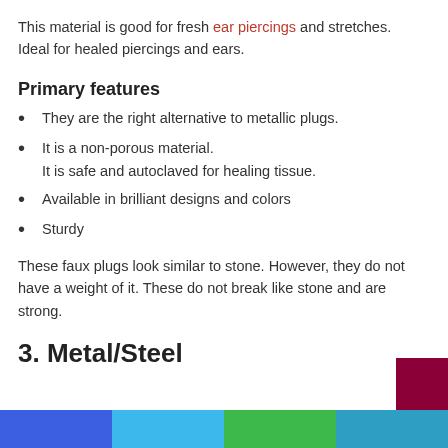This material is good for fresh ear piercings and stretches. Ideal for healed piercings and ears.
Primary features
They are the right alternative to metallic plugs.
It is a non-porous material. It is safe and autoclaved for healing tissue.
Available in brilliant designs and colors
Sturdy
These faux plugs look similar to stone. However, they do not have a weight of it. These do not break like stone and are strong.
3. Metal/Steel